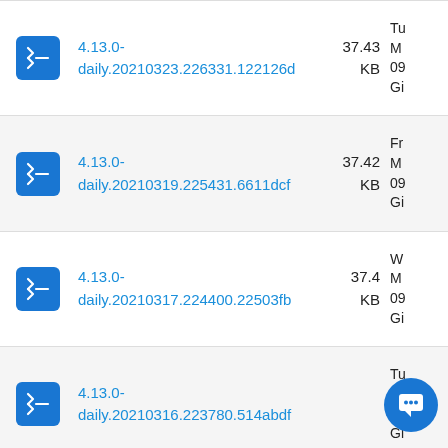4.13.0-daily.20210323.226331.122126d  37.43 KB  Tu M 09 Gi
4.13.0-daily.20210319.225431.6611dcf  37.42 KB  Fr M 09 Gi
4.13.0-daily.20210317.224400.22503fb  37.4 KB  W M 09 Gi
4.13.0-daily.20210316.223780.514abdf  Tu M 09 Gi